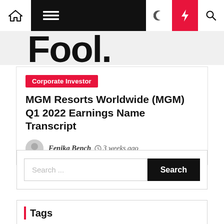Navigation bar with home, menu, moon, flash, search icons
[Figure (logo): Fool. website logo partial, large bold text]
Corporate Investor
MGM Resorts Worldwide (MGM) Q1 2022 Earnings Name Transcript
Fenika Bench  3 weeks ago
Search ...
Tags